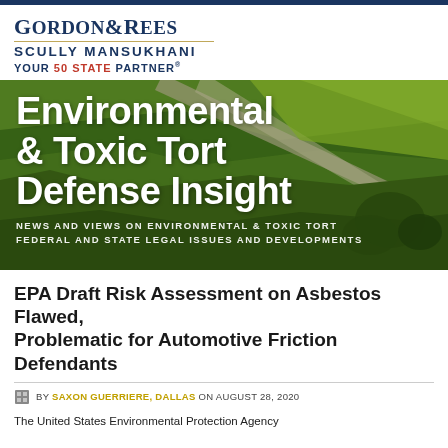[Figure (logo): Gordon & Rees Scully Mansukhani law firm logo with tagline YOUR 50 STATE PARTNER]
[Figure (illustration): Aerial photograph of green agricultural fields with roads, used as hero background image for Environmental & Toxic Tort Defense Insight newsletter]
Environmental & Toxic Tort Defense Insight
NEWS AND VIEWS ON ENVIRONMENTAL & TOXIC TORT FEDERAL AND STATE LEGAL ISSUES AND DEVELOPMENTS
EPA Draft Risk Assessment on Asbestos Flawed, Problematic for Automotive Friction Defendants
BY SAXON GUERRIERE, DALLAS ON AUGUST 28, 2020
The United States Environmental Protection Agency